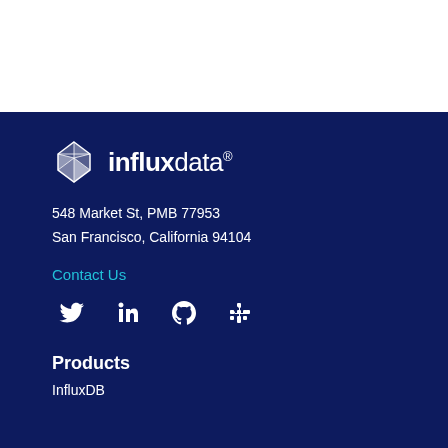[Figure (logo): InfluxData logo with geometric crystal-like icon and 'influxdata' text in white on dark navy background]
548 Market St, PMB 77953
San Francisco, California 94104
Contact Us
[Figure (other): Social media icons: Twitter, LinkedIn, GitHub, Slack — all white on dark navy background]
Products
InfluxDB